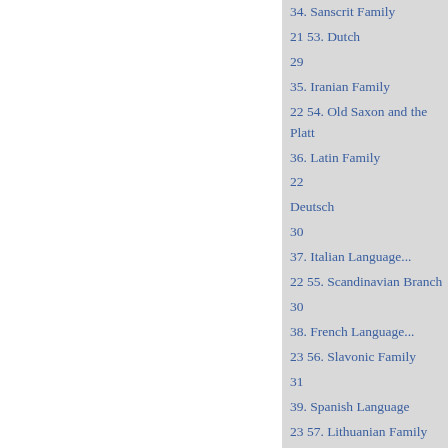34. Sanscrit Family
21 53. Dutch
29
35. Iranian Family
22 54. Old Saxon and the Platt
36. Latin Family
22
Deutsch
30
37. Italian Language...
22 55. Scandinavian Branch
30
38. French Language...
23 56. Slavonic Family
31
39. Spanish Language
23 57. Lithuanian Family
31